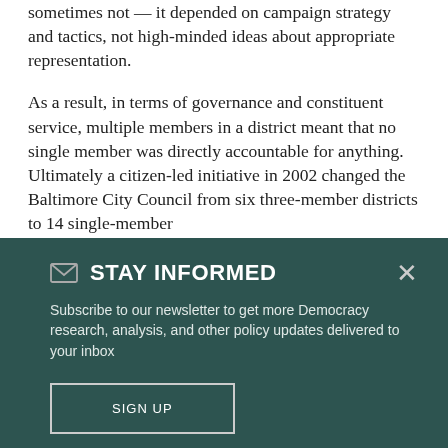sometimes not — it depended on campaign strategy and tactics, not high-minded ideas about appropriate representation.
As a result, in terms of governance and constituent service, multiple members in a district meant that no single member was directly accountable for anything. Ultimately a citizen-led initiative in 2002 changed the Baltimore City Council from six three-member districts to 14 single-member
✉ STAY INFORMED
Subscribe to our newsletter to get more Democracy research, analysis, and other policy updates delivered to your inbox
SIGN UP